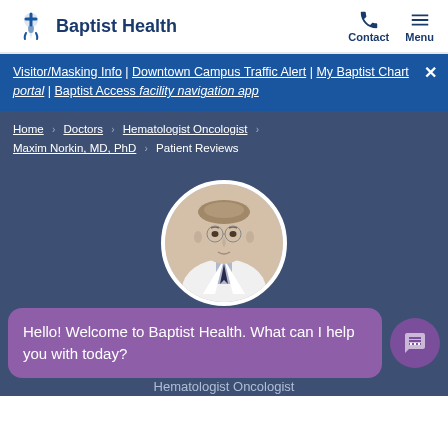Baptist Health | Contact | Menu
Visitor/Masking Info | Downtown Campus Traffic Alert | My Baptist Chart portal | Baptist Access facility navigation app
Home > Doctors > Hematologist Oncologist > Maxim Norkin, MD, PhD > Patient Reviews
[Figure (photo): Circular portrait photo of Dr. Maxim Norkin in white coat]
Hello! Welcome to Baptist Health. What can I help you with today?
Hematologist Oncologist